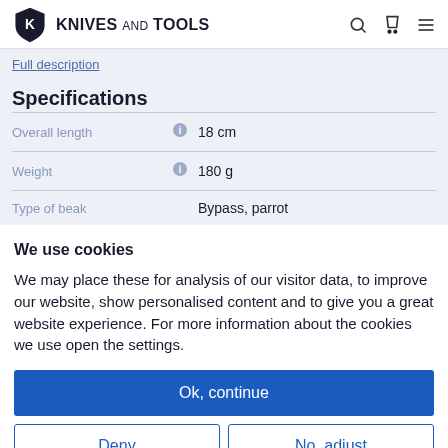KNIVES AND TOOLS
Full description
Specifications
|  |  |  |
| --- | --- | --- |
| Overall length | ⓘ | 18 cm |
| Weight | ⓘ | 180 g |
| Type of beak |  | Bypass, parrot |
We use cookies
We may place these for analysis of our visitor data, to improve our website, show personalised content and to give you a great website experience. For more information about the cookies we use open the settings.
Ok, continue
Deny
No, adjust